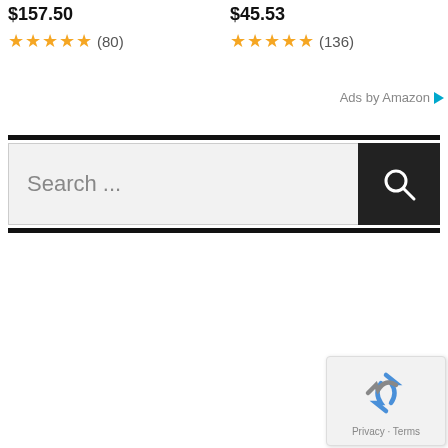$157.50
★★★★★ (80)
$45.53
★★★★★ (136)
Ads by Amazon ▷
[Figure (screenshot): Search bar with text 'Search ...' and a dark search button with magnifier icon]
[Figure (other): reCAPTCHA widget showing recycling arrows logo with 'Privacy - Terms' text]